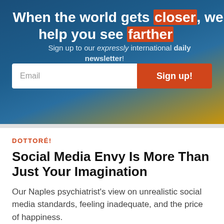When the world gets closer, we help you see farther
Sign up to our expressly international daily newsletter!
Email
Sign up!
DOTTORÉ!
Social Media Envy Is More Than Just Your Imagination
Our Naples psychiatrist's view on unrealistic social media standards, feeling inadequate, and the price of happiness.